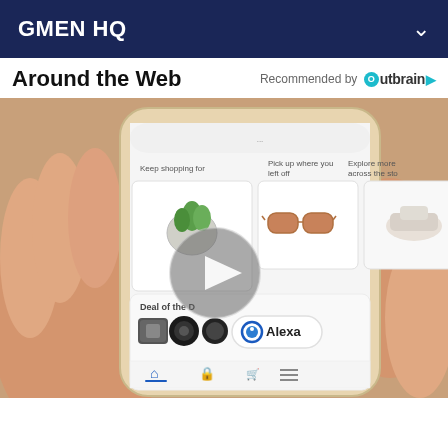GMEN HQ
Around the Web
[Figure (screenshot): A hand holding a smartphone showing the Amazon shopping app with sections: Keep shopping for (a plant in a glass sphere), Pick up where you left off (sunglasses), Explore more across the store (sneakers), Deal of the D[ay], and Alexa button. A video play button overlay is shown in the center.]